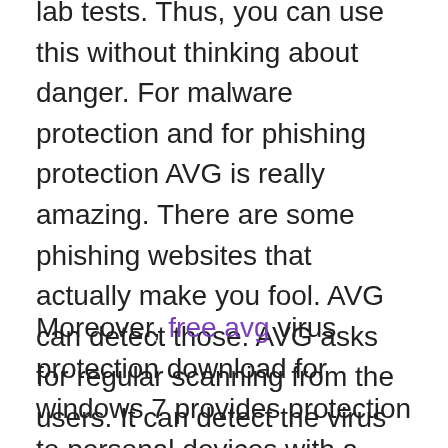lab tests. Thus, you can use this without thinking about danger. For malware protection and for phishing protection AVG is really amazing. There are some phishing websites that actually make you fool. AVG can detect those. AVG asks for regular scanning from the users. It can detect the virus and can delete consequently it. There is an extra feature of AVG that you can get with the coupons. For online shoppers, it offers those coupons.
Moreover, free avg virus protection download for windows 7 provides protection to personal devices with a regular internet connection. It is compatible with Windows, Mac, iOS, and Android devices as well. This is so quick in scanning that you will be surprised by the performance. This avg virus